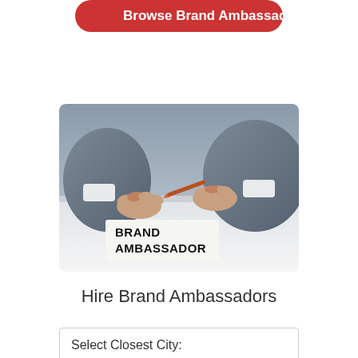Browse Brand Ambassadors
[Figure (photo): Person in grey suit sitting at a desk holding a pen, with a placard reading BRAND AMBASSADOR on the desk]
Hire Brand Ambassadors
Select Closest City: